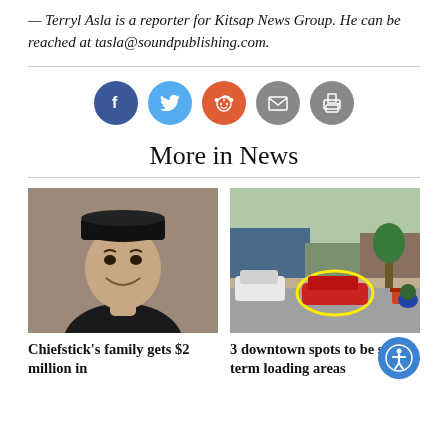— Terryl Asla is a reporter for Kitsap News Group. He can be reached at tasla@soundpublishing.com.
[Figure (infographic): Row of five social sharing icon circles: Facebook (blue), Twitter (light blue), Reddit (orange), Email (grey), Print (grey)]
More in News
[Figure (photo): Headshot of a young man smiling, wearing a black cap]
Chiefstick's family gets $2 million in
[Figure (photo): Street-level photo of a downtown area with a red car circled in yellow, commercial buildings in background]
3 downtown spots to be short-term loading areas